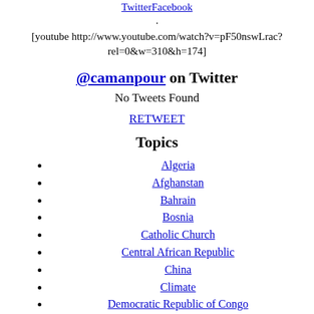TwitterFacebook
.
[youtube http://www.youtube.com/watch?v=pF50nswLrac?rel=0&w=310&h=174]
@camanpour on Twitter
No Tweets Found
RETWEET
Topics
Algeria
Afghanstan
Bahrain
Bosnia
Catholic Church
Central African Republic
China
Climate
Democratic Republic of Congo
Drones
Economy